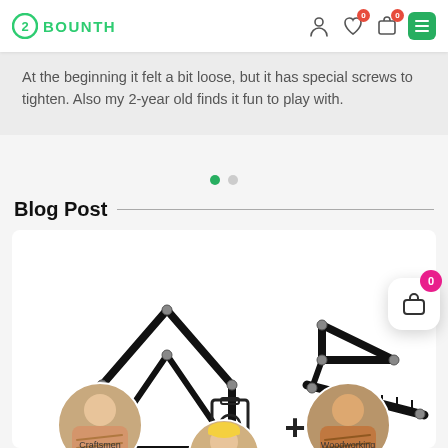BOUNTH
At the beginning it felt a bit loose, but it has special screws to tighten. Also my 2-year old finds it fun to play with.
Blog Post
[Figure (infographic): Product infographic showing angle template ruler tool components (house shape + triangular ruler + plus sign) and circular images of use cases: Craftsmen, Woodworking, and additional users]